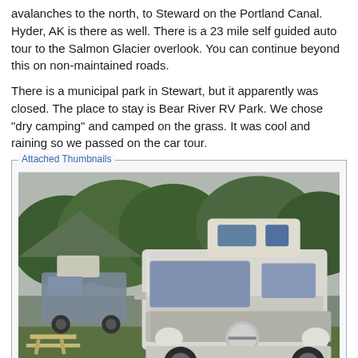avalanches to the north, to Steward on the Portland Canal. Hyder, AK is there as well. There is a 23 mile self guided auto tour to the Salmon Glacier overlook. You can continue beyond this on non-maintained roads.
There is a municipal park in Stewart, but it apparently was closed. The place to stay is Bear River RV Park. We chose "dry camping" and camped on the grass. It was cool and raining so we passed on the car tour.
[Figure (photo): Photo of a silver Nissan NV camper van with a raised roof pod parked on grass at a campsite. Trees and hills visible in background. Another similar van visible to the left. A picnic table is partially visible in front-left. Overcast sky.]